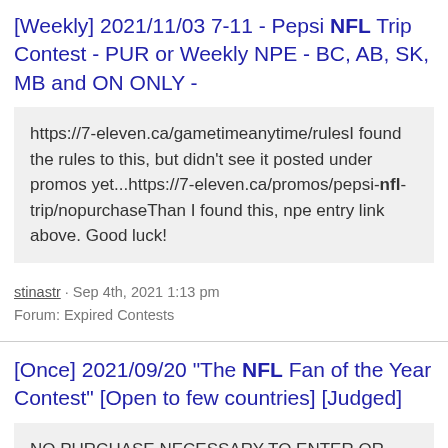[Weekly] 2021/11/03 7-11 - Pepsi NFL Trip Contest - PUR or Weekly NPE - BC, AB, SK, MB and ON ONLY -
https://7-eleven.ca/gametimeanytime/rulesI found the rules to this, but didn't see it posted under promos yet...https://7-eleven.ca/promos/pepsi-nfl-trip/nopurchaseThan I found this, npe entry link above. Good luck!
stinastr · Sep 4th, 2021 1:13 pm
Forum: Expired Contests
[Once] 2021/09/20 "The NFL Fan of the Year Contest" [Open to few countries] [Judged]
NO PURCHASE NECESSARY TO ENTER OR WIN. A PURCHASE DOES NOT INCREASE YOUR CHANCES OF WINNING. VOID WHERE PROHIBITED. The NFL Fan of